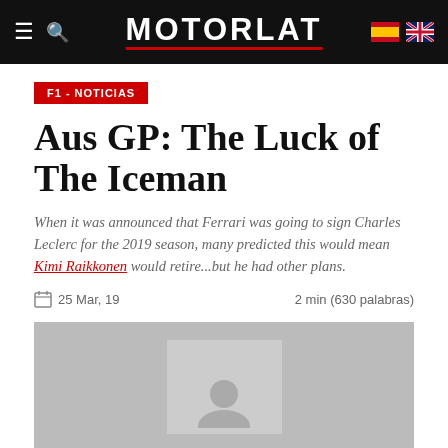MOTORLAT
F1 - NOTICIAS
Aus GP: The Luck of The Iceman
When it was announced that Ferrari was going to sign Charles Leclerc for the 2019 season, many predicted this would mean Kimi Raikkonen would retire...but he had other plans.
25 Mar, 19   2 min (630 palabras)
[Figure (photo): Placeholder image for article photo]